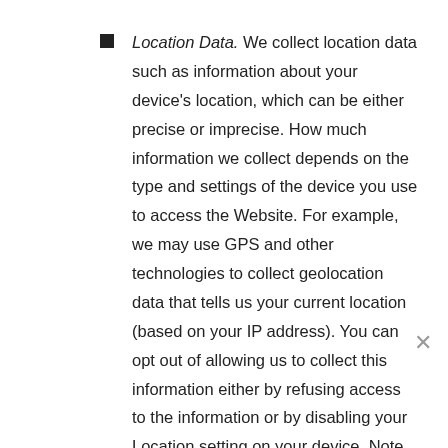Location Data. We collect location data such as information about your device's location, which can be either precise or imprecise. How much information we collect depends on the type and settings of the device you use to access the Website. For example, we may use GPS and other technologies to collect geolocation data that tells us your current location (based on your IP address). You can opt out of allowing us to collect this information either by refusing access to the information or by disabling your Location setting on your device. Note however, if you choose to opt out, you may not be able to use certain aspects of the Services.